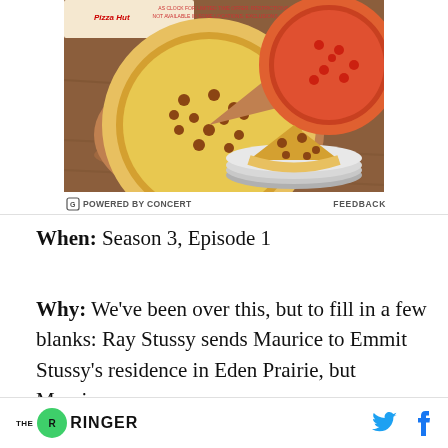[Figure (photo): Pizza Hut advertisement showing two whole pizzas on a wooden table and one slice of pizza on a plate, with Pizza Hut branding visible. Small disclaimer text at top reads 'AS CLOCK FOR LIMITED TIME OFFER. RESTRICTIONS. NOT AVAILABLE IN SOME LOCATIONS. EXCLUSIONS APPLY.']
⊟ POWERED BY CONCERT    FEEDBACK
When: Season 3, Episode 1
Why: We've been over this, but to fill in a few blanks: Ray Stussy sends Maurice to Emmit Stussy's residence in Eden Prairie, but Maurice,
THE RINGER